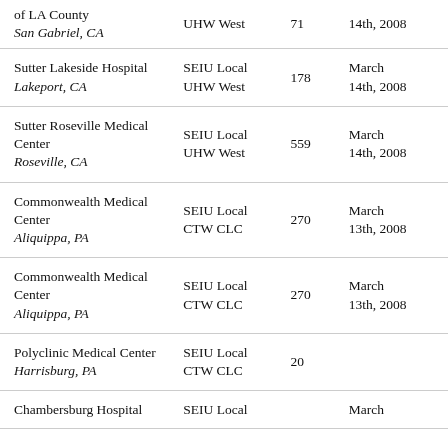| Facility | Union | Workers | Date |
| --- | --- | --- | --- |
| of LA County
San Gabriel, CA | UHW West | 71 | 14th, 2008 |
| Sutter Lakeside Hospital
Lakeport, CA | SEIU Local
UHW West | 178 | March
14th, 2008 |
| Sutter Roseville Medical Center
Roseville, CA | SEIU Local
UHW West | 559 | March
14th, 2008 |
| Commonwealth Medical Center
Aliquippa, PA | SEIU Local
CTW CLC | 270 | March
13th, 2008 |
| Commonwealth Medical Center
Aliquippa, PA | SEIU Local
CTW CLC | 270 | March
13th, 2008 |
| Polyclinic Medical Center
Harrisburg, PA | SEIU Local
CTW CLC | 20 |  |
| Chambersburg Hospital | SEIU Local |  | March |